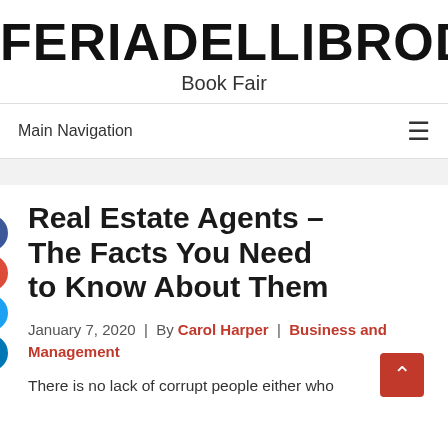FERIADELLIBRODESEVIL
Book Fair
Main Navigation
Real Estate Agents – The Facts You Need to Know About Them
January 7, 2020  |  By Carol Harper  |  Business and Management
There is no lack of corrupt people either who